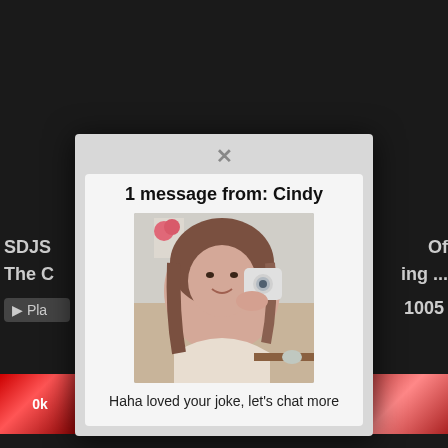SDJS... Of The C... ing ... Play 1005
[Figure (screenshot): Dark background webpage with partial video thumbnails visible behind a modal popup dialog]
1 message from: Cindy
[Figure (photo): Woman taking a selfie in mirror]
Haha loved your joke, let's chat more